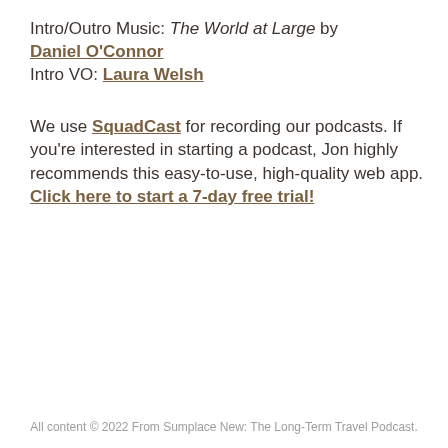Intro/Outro Music: The World at Large by Daniel O'Connor
Intro VO: Laura Welsh
We use SquadCast for recording our podcasts. If you're interested in starting a podcast, Jon highly recommends this easy-to-use, high-quality web app. Click here to start a 7-day free trial!
All content © 2022 From Sumplace New: The Long-Term Travel Podcast.